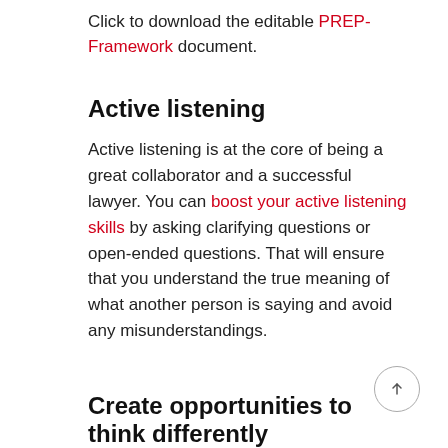Click to download the editable PREP-Framework document.
Active listening
Active listening is at the core of being a great collaborator and a successful lawyer. You can boost your active listening skills by asking clarifying questions or open-ended questions. That will ensure that you understand the true meaning of what another person is saying and avoid any misunderstandings.
Create opportunities to think differently